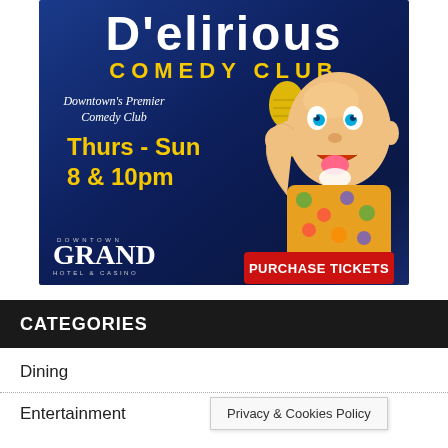[Figure (illustration): Advertisement for D'elirious Comedy Club at Downtown Grand Hotel & Casino. Blue background with cartoon bald man in Hawaiian shirt sticking out tongue, holding microphone. Text: 'D'elirious COMEDY CLUB', 'Downtown's Premier Comedy Club', 'Thurs - Sun 8 & 10pm', 'PURCHASE TICKETS' red button, 'DOWNTOWN GRAND HOTEL & CASINO' logo.]
CATEGORIES
Dining
Entertainment
Privacy & Cookies Policy